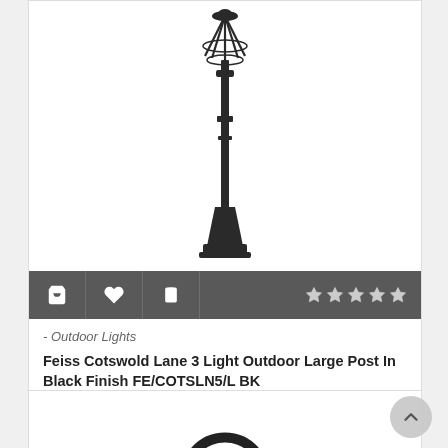[Figure (photo): Feiss Cotswold Lane 3 Light outdoor large post lamp in black finish — a tall ornate black lamp post with lantern top]
- Outdoor Lights
Feiss Cotswold Lane 3 Light Outdoor Large Post In Black Finish FE/COTSLN5/L BK
£540.00
[Figure (photo): Partial view of a second product — a circular black light fixture, partially visible at the bottom of the page]